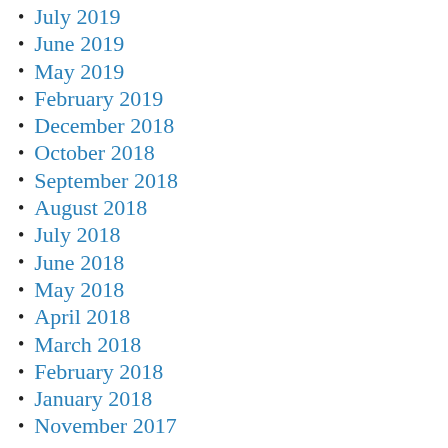July 2019
June 2019
May 2019
February 2019
December 2018
October 2018
September 2018
August 2018
July 2018
June 2018
May 2018
April 2018
March 2018
February 2018
January 2018
November 2017